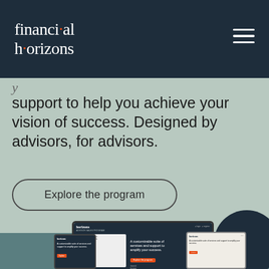[Figure (logo): Financial Horizons logo — white serif wordmark on dark navy background with orange dot accents, plus hamburger menu icon top right]
support to help you achieve your vision of success. Designed by advisors, for advisors.
Explore the program
[Figure (screenshot): Mockup showing Financial Horizons website displayed on laptop, phone, and tablet devices. The screens show 'horizons' logo, tagline 'A customizable suite of services and support to amplify your success.' with an orange CTA button and 'financial horizons' branding.]